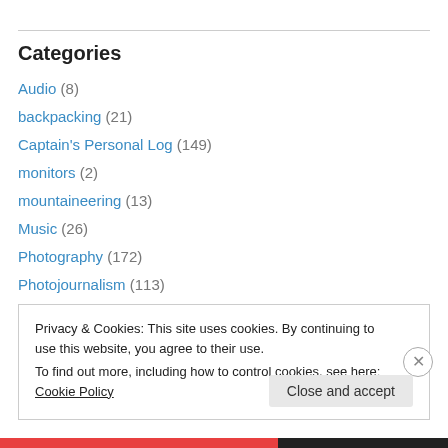Categories
Audio (8)
backpacking (21)
Captain's Personal Log (149)
monitors (2)
mountaineering (13)
Music (26)
Photography (172)
Photojournalism (113)
Reviews (106)
Privacy & Cookies: This site uses cookies. By continuing to use this website, you agree to their use. To find out more, including how to control cookies, see here: Cookie Policy
Close and accept